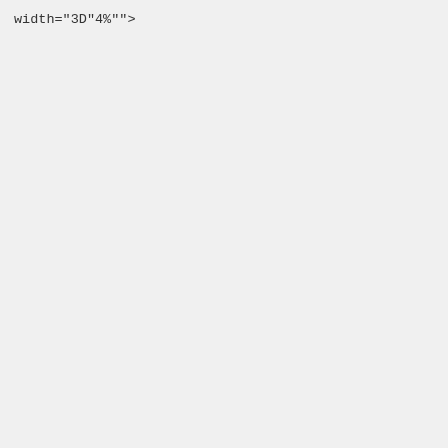width="3D&quot;4%&quot;"><font face="3DArial"> </fo
    <p><font face="3DArial">0</font></p>
    </td>
  </tr>
  <tr>
    <td bgcolor="#ccffff" height="3D14" width="3D&
face="3DArial"> </font>
      <p align="3Dright"><font face="3DArial">9</fon
    </td>
    <td bgcolor="#ccffff" height="3D14" width="3D&
face="3DArial"> </font>
      <p align="3Dleft"><font face="3DArial">Cyborgs
    </td>
    <td style="text-align: right;" bgcolor="#ccfff
width="3D&quot;2%&quot;"><font face="3DArial"> </fo
    <p><font face="3DArial">3</font></p>
    </td>
    <td style="text-align: right;" bgcolor="#ccfff
width="3D&quot;6%&quot;"><font face="3DArial"> </fo
      <p><font face="3DArial">80</font></p>
    </td>
    <td style="text-align: right;" bgcolor="#ccfff
width="3D&quot;4%&quot;"><font face="3DArial"> </fo
    <p><font face="3DArial">20</font></p>